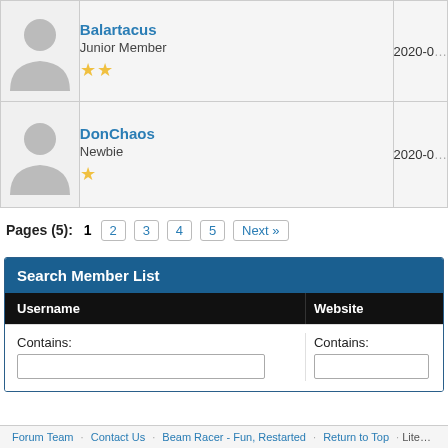| Avatar | Username/Rank | Date |
| --- | --- | --- |
| [avatar] | Balartacus
Junior Member
★★ | 2020-0… |
| [avatar] | DonChaos
Newbie
★ | 2020-0… |
Pages (5):  1  2  3  4  5  Next »
Search Member List
| Username | Website |
| --- | --- |
| Contains: | Contains: |
Forum Team · Contact Us · Beam Racer - Fun, Restarted · Return to Top · Lite…